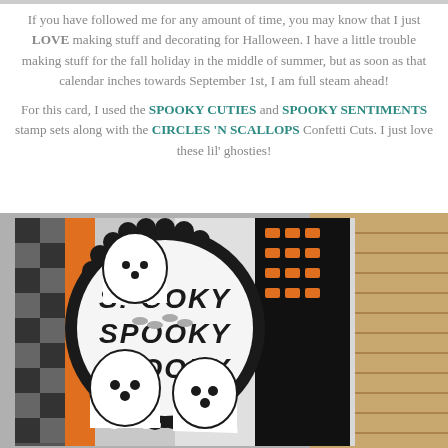If you have followed me for any amount of time, you may know that I just LOVE making stuff and decorating for Halloween. I have a little trouble making stuff for the fall holiday in the middle of summer, but as soon as that calendar inches towards September 1st, I am full steam ahead!

For this card, I used the SPOOKY CUTIES and SPOOKY SENTIMENTS stamp sets along with the CIRCLES 'N SCALLOPS Confetti Cuts. I just love these lil' ghosties!
[Figure (photo): Close-up photo of a handmade Halloween card featuring white ghost die-cuts and a black scalloped circle with 'spooky' text stamped on it, displayed on a woven surface with Halloween-patterned paper in orange, black, grey and white.]